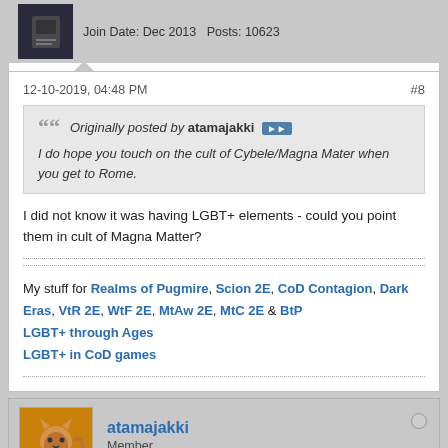Join Date: Dec 2013   Posts: 10623
12-10-2019, 04:48 PM
#8
Originally posted by atamajakki
I do hope you touch on the cult of Cybele/Magna Mater when you get to Rome.
I did not know it was having LGBT+ elements - could you point them in cult of Magna Matter?
My stuff for Realms of Pugmire, Scion 2E, CoD Contagion, Dark Eras, VtR 2E, WtF 2E, MtAw 2E, MtC 2E & BtP
LGBT+ through Ages
LGBT+ in CoD games
atamajakki
Member
Join Date: Nov 2013   Posts: 5485